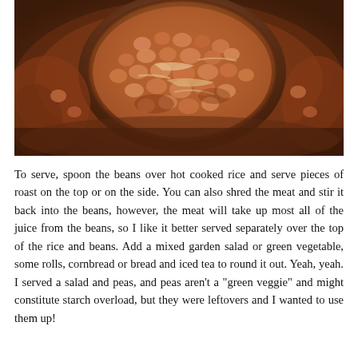[Figure (photo): Close-up photo of a spoon or ladle scooping baked beans in a thick reddish-brown sauce, with shredded meat visible, all in a dark cooking pot.]
To serve, spoon the beans over hot cooked rice and serve pieces of roast on the top or on the side. You can also shred the meat and stir it back into the beans, however, the meat will take up most all of the juice from the beans, so I like it better served separately over the top of the rice and beans. Add a mixed garden salad or green vegetable, some rolls, cornbread or bread and iced tea to round it out. Yeah, yeah. I served a salad and peas, and peas aren't a "green veggie" and might constitute starch overload, but they were leftovers and I wanted to use them up!